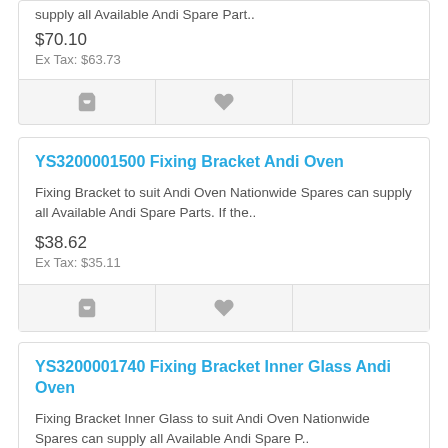supply all Available Andi Spare Part..
$70.10
Ex Tax: $63.73
YS3200001500 Fixing Bracket Andi Oven
Fixing Bracket to suit Andi Oven Nationwide Spares can supply all Available Andi Spare Parts. If the..
$38.62
Ex Tax: $35.11
YS3200001740 Fixing Bracket Inner Glass Andi Oven
Fixing Bracket Inner Glass to suit Andi Oven Nationwide Spares can supply all Available Andi Spare P..
$6.78
Ex Tax: $6.16